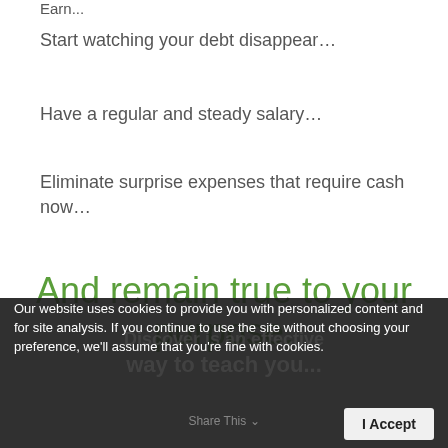Earn...
Start watching your debt disappear...
Have a regular and steady salary...
Eliminate surprise expenses that require cash now...
And remain true to your purpose.
Our website uses cookies to provide you with personalized content and for site analysis. If you continue to use the site without choosing your preference, we'll assume that you're fine with cookies.
I Accept